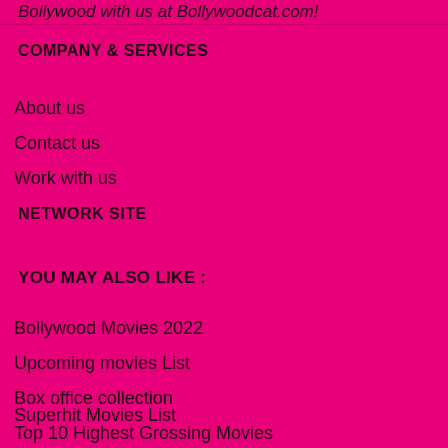Bollywood with us at Bollywoodcat.com!
COMPANY & SERVICES
About us
Contact us
Work with us
NETWORK SITE
YOU MAY ALSO LIKE :
Bollywood Movies 2022
Upcoming movies List
Box office collection
Superhit Movies List
Top 10 Highest Grossing Movies